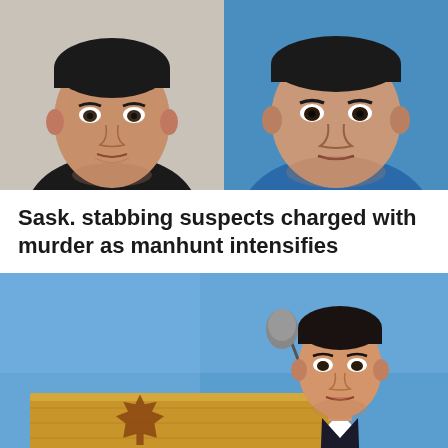[Figure (photo): Two mugshot-style photos side by side. Left: young man in dark shirt against light wall. Right: man in blue t-shirt against blue background.]
Sask. stabbing suspects charged with murder as manhunt intensifies
[Figure (photo): Man in dark suit standing at a wooden podium with a maple leaf emblem, microphone visible, against blue sky background.]